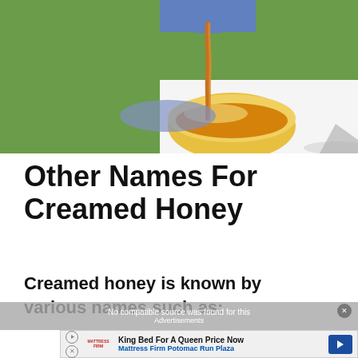[Figure (photo): Honey being poured from a blue container into a yellow bowl outdoors on a sunny day with green grass in the background]
Other Names For Creamed Honey
Creamed honey is known by various names such as:
[Figure (screenshot): Video overlay saying 'No compatible source was found for this' and Advertisements label, with a Mattress Firm ad below showing 'King Bed For A Queen Price Now' and 'Mattress Firm Potomac Run Plaza']